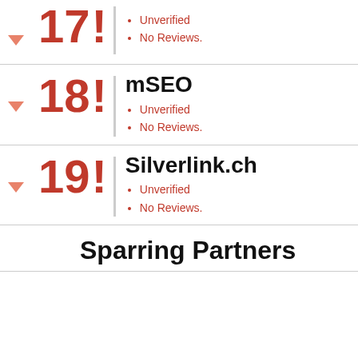17 - mediolog - Unverified - No Reviews.
18 - mSEO - Unverified - No Reviews.
19 - Silverlink.ch - Unverified - No Reviews.
Sparring Partners